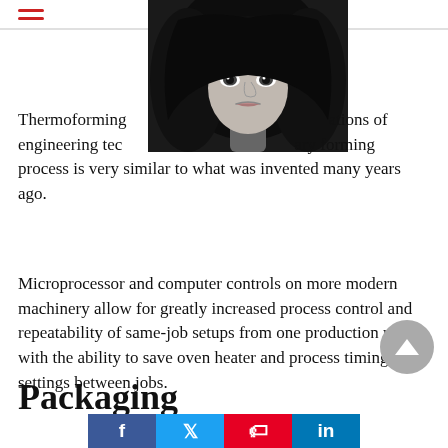☰ (hamburger menu icon)
[Figure (photo): Black and white portrait photo of a woman with long dark hair, pale face, strong eye makeup, looking directly at camera]
Thermoforming [covered by image] ations of engineering tec [covered by image] ary forming process is very similar to what was invented many years ago.
Microprocessor and computer controls on more modern machinery allow for greatly increased process control and repeatability of same-job setups from one production run with the ability to save oven heater and process timing settings between jobs.
Packaging